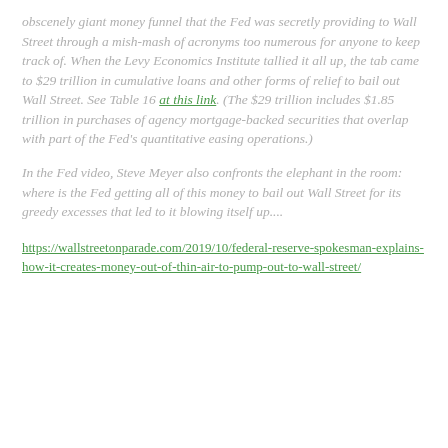obscenely giant money funnel that the Fed was secretly providing to Wall Street through a mish-mash of acronyms too numerous for anyone to keep track of. When the Levy Economics Institute tallied it all up, the tab came to $29 trillion in cumulative loans and other forms of relief to bail out Wall Street. See Table 16 at this link. (The $29 trillion includes $1.85 trillion in purchases of agency mortgage-backed securities that overlap with part of the Fed's quantitative easing operations.)
In the Fed video, Steve Meyer also confronts the elephant in the room: where is the Fed getting all of this money to bail out Wall Street for its greedy excesses that led to it blowing itself up....
https://wallstreetonparade.com/2019/10/federal-reserve-spokesman-explains-how-it-creates-money-out-of-thin-air-to-pump-out-to-wall-street/